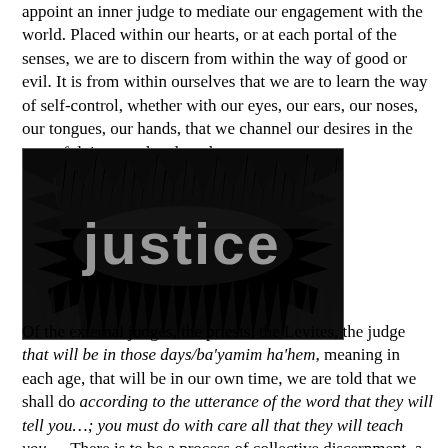appoint an inner judge to mediate our engagement with the world. Placed within our hearts, or at each portal of the senses, we are to discern from within the way of good or evil. It is from within ourselves that we are to learn the way of self-control, whether with our eyes, our ears, our noses, our tongues, our hands, that we channel our desires in the way of doing good and not harm.
[Figure (illustration): Black and white illustration showing silhouettes of many hands reaching upward and outward, with the word 'justice' written in large grey text across the center.]
Of the external judges, the priests, the Levites, the judge that will be in those days/ba'yamim ha'hem, meaning in each age, that will be in our own time, we are told that we shall do according to the utterance of the word that they will tell you…; you must do with care all that they will teach you…. There is to be a process of collective discernment, a process of learning that leads to teaching that leads to doing. There are processes that lead to participatory decision